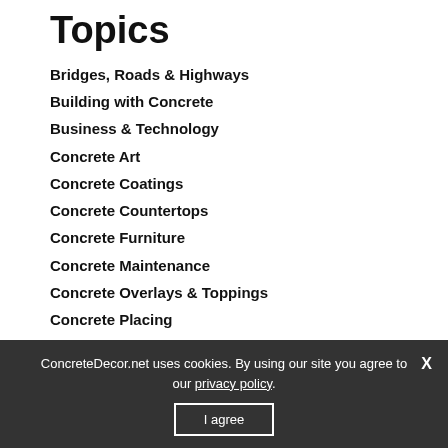Topics
Bridges, Roads & Highways
Building with Concrete
Business & Technology
Concrete Art
Concrete Coatings
Concrete Countertops
Concrete Furniture
Concrete Maintenance
Concrete Overlays & Toppings
Concrete Placing
Concrete Polishing
ConcreteDecor.net uses cookies. By using our site you agree to our privacy policy.